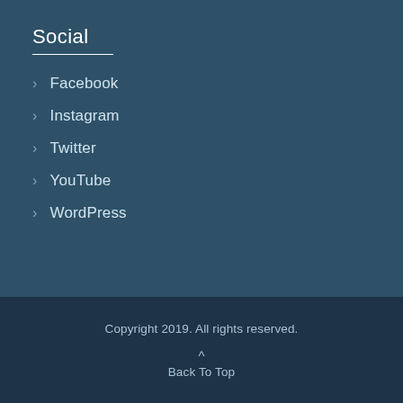Social
Facebook
Instagram
Twitter
YouTube
WordPress
Copyright 2019. All rights reserved.
Back To Top